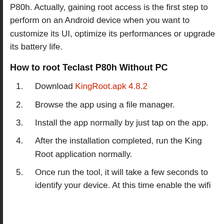P80h. Actually, gaining root access is the first step to perform on an Android device when you want to customize its UI, optimize its performances or upgrade its battery life.
How to root Teclast P80h Without PC
1. Download KingRoot.apk 4.8.2
2. Browse the app using a file manager.
3. Install the app normally by just tap on the app.
4. After the installation completed, run the King Root application normally.
5. Once run the tool, it will take a few seconds to identify your device. At this time enable the wifi